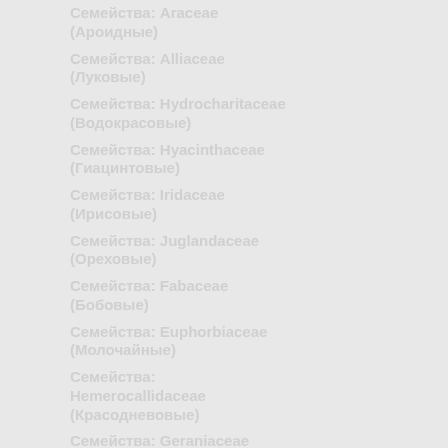Семейства: Araceae (Ароидные)
Семейства: Alliaceae (Луковые)
Семейства: Hydrocharitaceae (Водокрасовые)
Семейства: Hyacinthaceae (Гиацинтовые)
Семейства: Iridaceae (Ирисовые)
Семейства: Juglandaceae (Ореховые)
Семейства: Fabaceae (Бобовые)
Семейства: Euphorbiaceae (Молочайные)
Семейства: Hemerocallidaceae (Красодневовые)
Семейства: Geraniaceae (Гераниевые)
Семейства: Juncaceae (Ситниковые)
Семейства: Juncaginaceae